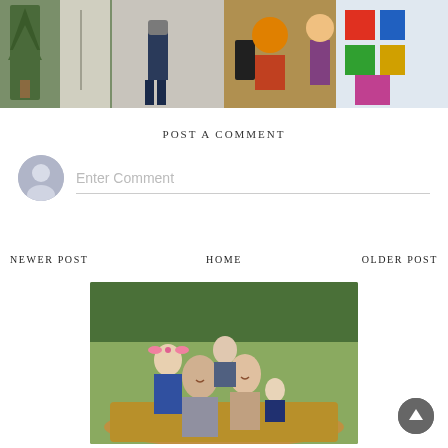[Figure (photo): Horizontal strip of four photos: Christmas tree in entryway, person in dark jeans standing, Halloween-costumed children, colorful children's play area]
POST A COMMENT
[Figure (illustration): User avatar circle with generic person silhouette and a comment input field placeholder reading 'Enter Comment']
NEWER POST
HOME
OLDER POST
[Figure (photo): Family portrait outdoors with parents and three young children embracing and laughing, autumn foliage background]